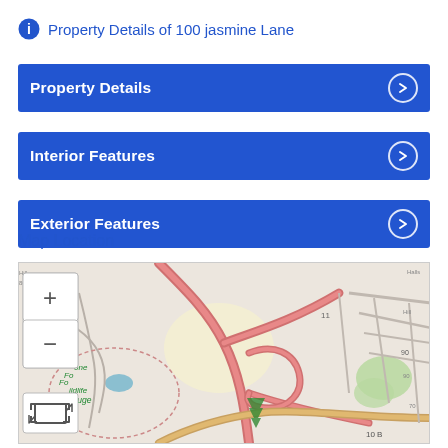Property Details of 100 jasmine Lane
Property Details
Interior Features
Exterior Features
Map Location
[Figure (map): Street map showing the location near 100 Jasmine Lane with road network, a wildlife refuge area, and surrounding neighborhoods. Map includes zoom controls (+/-) and a fullscreen button.]